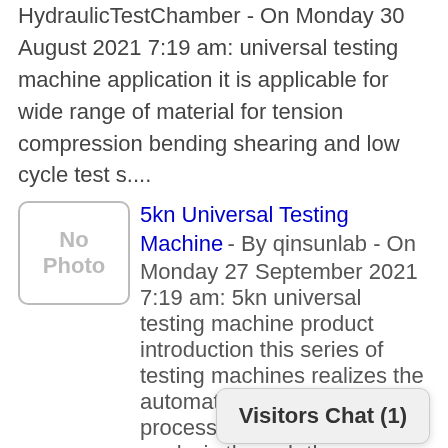HydraulicTestChamber - On Monday 30 August 2021 7:19 am: universal testing machine application it is applicable for wide range of material for tension compression bending shearing and low cycle test s....
5kn Universal Testing Machine - By qinsunlab - On Monday 27 September 2021 7:19 am: 5kn universal testing machine product introduction this series of testing machines realizes the automatic control of the test process data acquisition and analysis through the co....
Universal Air Intercooler Jsb3236 - By JiushengHeatExchanger - On Friday 11 February 2022 6:48 am: universal air intercooler jsb intercooler jsb3236 the specific the single of the machine at....
Visitors Chat (1)